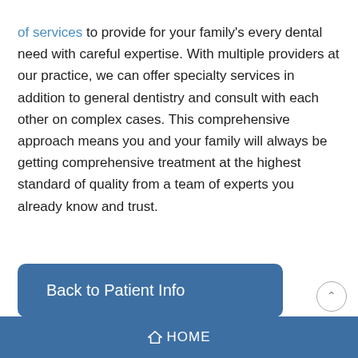of services to provide for your family's every dental need with careful expertise. With multiple providers at our practice, we can offer specialty services in addition to general dentistry and consult with each other on complex cases. This comprehensive approach means you and your family will always be getting comprehensive treatment at the highest standard of quality from a team of experts you already know and trust.
Back to Patient Info
HOME